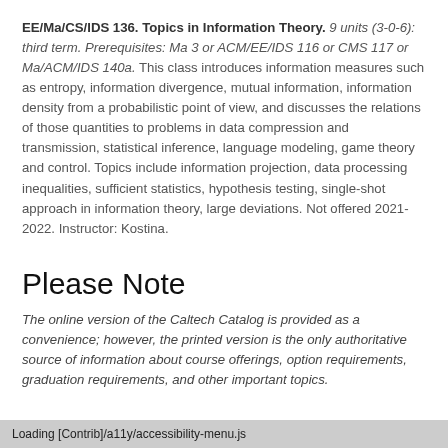EE/Ma/CS/IDS 136. Topics in Information Theory. 9 units (3-0-6): third term. Prerequisites: Ma 3 or ACM/EE/IDS 116 or CMS 117 or Ma/ACM/IDS 140a. This class introduces information measures such as entropy, information divergence, mutual information, information density from a probabilistic point of view, and discusses the relations of those quantities to problems in data compression and transmission, statistical inference, language modeling, game theory and control. Topics include information projection, data processing inequalities, sufficient statistics, hypothesis testing, single-shot approach in information theory, large deviations. Not offered 2021-2022. Instructor: Kostina.
Please Note
The online version of the Caltech Catalog is provided as a convenience; however, the printed version is the only authoritative source of information about course offerings, option requirements, graduation requirements, and other important topics.
Loading [Contrib]/a11y/accessibility-menu.js